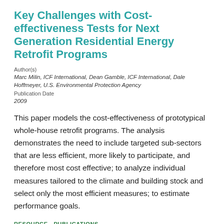Key Challenges with Cost-effectiveness Tests for Next Generation Residential Energy Retrofit Programs
Author(s)
Marc Milin, ICF International, Dean Gamble, ICF International, Dale Hoffmeyer, U.S. Environmental Protection Agency
Publication Date
2009
This paper models the cost-effectiveness of prototypical whole-house retrofit programs. The analysis demonstrates the need to include targeted sub-sectors that are less efficient, more likely to participate, and therefore most cost effective; to analyze individual measures tailored to the climate and building stock and select only the most efficient measures; to estimate performance goals.
RESOURCE - PUBLICATIONS